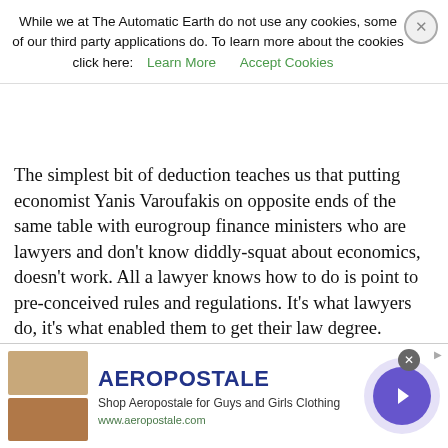While we at The Automatic Earth do not use any cookies, some of our third party applications do. To learn more about the cookies click here:  Learn More   Accept Cookies
The simplest bit of deduction teaches us that putting economist Yanis Varoufakis on opposite ends of the same table with eurogroup finance ministers who are lawyers and don't know diddly-squat about economics, doesn't work. All a lawyer knows how to do is point to pre-conceived rules and regulations. It's what lawyers do, it's what enabled them to get their law degree.
But you might as well put a Chinese farmer and a West Virginia gun dealer together. They don't speak the same language. Other then perhaps possibly that of compassion, but that's the one quality lawyers are sure to lack once they get to be finance ministers.
Still, once you acknowledge that something is a political issue, you must make sure that only political arguments drive the talks, not economic ones, not even legal ones. And that's what seems to be the
[Figure (infographic): Aeropostale advertisement banner with clothing images, brand name 'AEROPOSTALE', tagline 'Shop Aeropostale for Guys and Girls Clothing', URL 'www.aeropostale.com', and a purple circular arrow button]